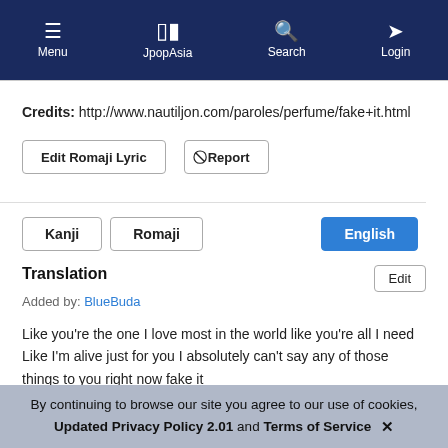Menu | JpopAsia | Search | Login
Credits: http://www.nautiljon.com/paroles/perfume/fake+it.html
Edit Romaji Lyric   Report
Kanji   Romaji   English
Translation
Added by: BlueBuda
Like you're the one I love most in the world like you're all I need
Like I'm alive just for you I absolutely can't say any of those things to you right now fake it
I want to be the best I want to be number one
By continuing to browse our site you agree to our use of cookies, Updated Privacy Policy 2.01 and Terms of Service ✕